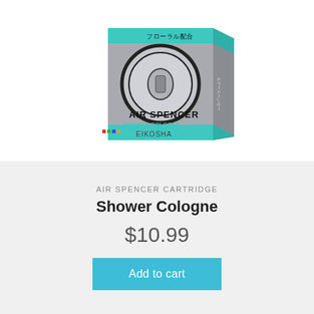[Figure (photo): Air Spencer Cartridge Shower Cologne product box, gray/silver packaging with teal/green accents, Japanese text フローラル配合, AIR SPENCER SHOWER COLOGNE branding, EIKOSHA manufacturer name, anime-style female character illustration on box]
AIR SPENCER CARTRIDGE
Shower Cologne
$10.99
Add to cart